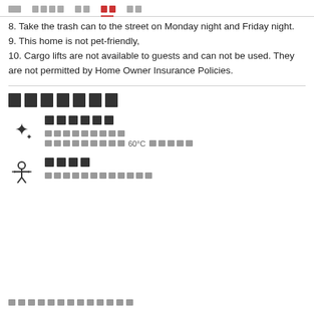Navigation header with menu items
8. Take the trash can to the street on Monday night and Friday night.
9. This home is not pet-friendly,
10. Cargo lifts are not available to guests and can not be used. They are not permitted by Home Owner Insurance Policies.
Amenities section header
Sparkle/Cleanliness amenity with sub-details including temperature 60°C
Person/Guest amenity with sub-details
Footer text block